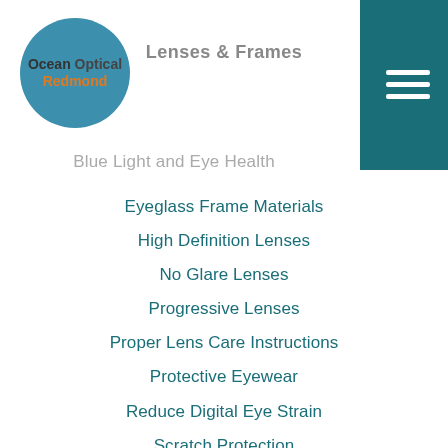[Figure (logo): Ocean Optical Redmond logo with teal circle containing company name]
Lenses & Frames
Blue Light and Eye Health
Eyeglass Frame Materials
High Definition Lenses
No Glare Lenses
Progressive Lenses
Proper Lens Care Instructions
Protective Eyewear
Reduce Digital Eye Strain
Scratch Protection
Sunglasses
Thinner and Lighter Lenses